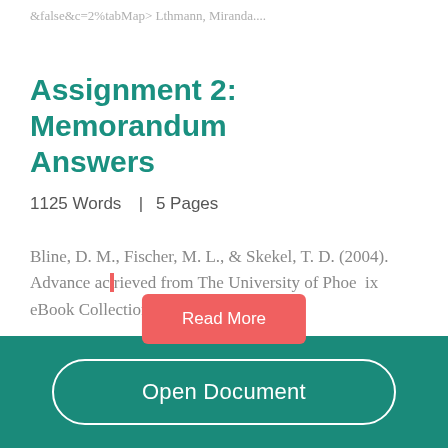&false&c=2%tabMap> Lthmann, Miranda....
Assignment 2: Memorandum Answers
1125 Words  | 5 Pages
Bline, D. M., Fischer, M. L., & Skekel, T. D. (2004). Advance ac...rieved from The University of Phoenix eBook Collection. FASB. (2012).
Read More
Open Document